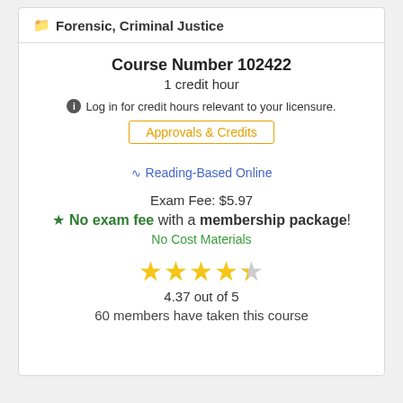Forensic, Criminal Justice
Course Number 102422
1 credit hour
Log in for credit hours relevant to your licensure.
Approvals & Credits
Reading-Based Online
Exam Fee: $5.97
No exam fee with a membership package!
No Cost Materials
4.37 out of 5
60 members have taken this course